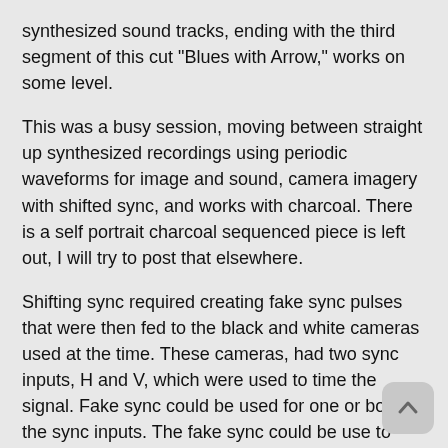synthesized sound tracks, ending with the third segment of this cut "Blues with Arrow," works on some level.
This was a busy session, moving between straight up synthesized recordings using periodic waveforms for image and sound, camera imagery with shifted sync, and works with charcoal. There is a self portrait charcoal sequenced piece is left out, I will try to post that elsewhere.
Shifting sync required creating fake sync pulses that were then fed to the black and white cameras used at the time. These cameras, had two sync inputs, H and V, which were used to time the signal. Fake sync could be used for one or both of the sync inputs. The fake sync could be use to create continuous movement in one direction, or voltage controlled to create oscillating movement. At one point David Jones even designed a sync-repositioner that modified and processed H and V sync so that one of these same cameras could be used to create H and V wobulater effects (it did not include wobulater like rotation). Many